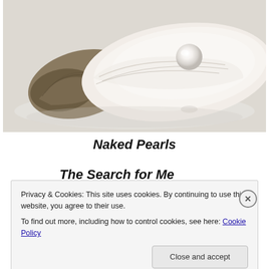[Figure (photo): Photograph of an oyster shell open on a reflective white surface with a single white pearl resting inside the shell.]
Naked Pearls
The Search for Meaning
Privacy & Cookies: This site uses cookies. By continuing to use this website, you agree to their use.
To find out more, including how to control cookies, see here: Cookie Policy
Close and accept